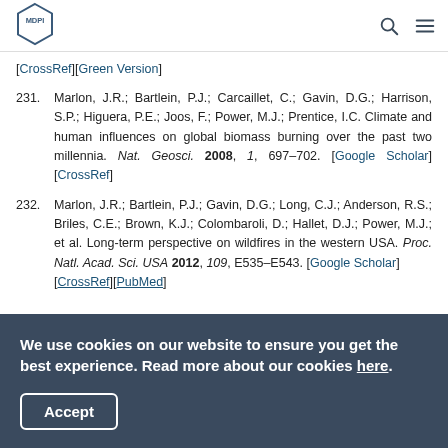MDPI
[CrossRef][Green Version]
231. Marlon, J.R.; Bartlein, P.J.; Carcaillet, C.; Gavin, D.G.; Harrison, S.P.; Higuera, P.E.; Joos, F.; Power, M.J.; Prentice, I.C. Climate and human influences on global biomass burning over the past two millennia. Nat. Geosci. 2008, 1, 697–702. [Google Scholar] [CrossRef]
232. Marlon, J.R.; Bartlein, P.J.; Gavin, D.G.; Long, C.J.; Anderson, R.S.; Briles, C.E.; Brown, K.J.; Colombaroli, D.; Hallet, D.J.; Power, M.J.; et al. Long-term perspective on wildfires in the western USA. Proc. Natl. Acad. Sci. USA 2012, 109, E535–E543. [Google Scholar] [CrossRef][PubMed]
We use cookies on our website to ensure you get the best experience. Read more about our cookies here.
Accept